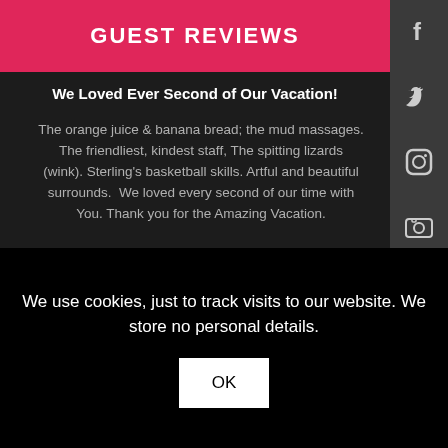GUEST REVIEWS
We Loved Ever Second of Our Vacation!
The orange juice & banana bread; the mud massages. The friendliest, kindest staff, The spitting lizards (wink). Sterling's basketball skills. Artful and beautiful surrounds. We loved every second of our time with You. Thank you for the Amazing Vacation.
Matt, Adie, Kiley, Max + Chelsea Kay M. | Oxford, MI | December 30, 2019
Most Memorable Trip We have Ever Had
We use cookies, just to track visits to our website. We store no personal details.